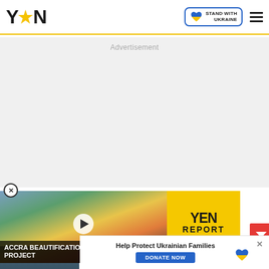YEN (logo with star) | STAND WITH UKRAINE badge | hamburger menu
Advertisement
[Figure (screenshot): Video card showing Accra Beautification Project mural with play button, YEN REPORT yellow sidebar logo, and yen.com.gh URL]
ition activists, and others
[Figure (photo): Thumbnail photo of people at bottom left]
Help Protect Ukrainian Families | DONATE NOW button | Ukraine heart logo